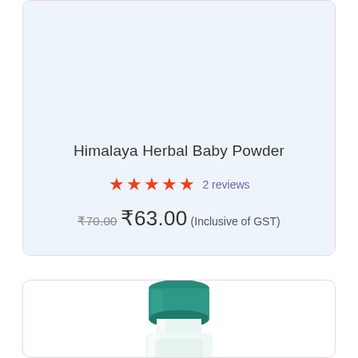Himalaya Herbal Baby Powder
★★★★★  2 reviews
₹70.00 ₹63.00 (Inclusive of GST)
[Figure (photo): Bottom portion of a white bottle with teal/green cap — Himalaya product]